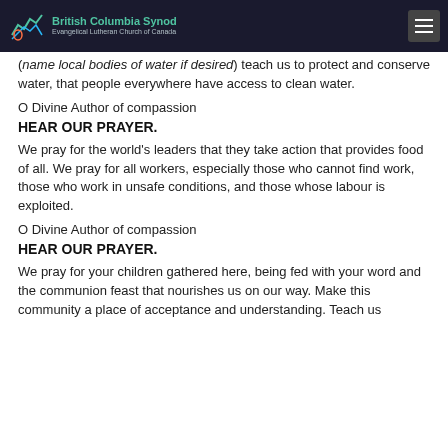British Columbia Synod — Evangelical Lutheran Church of Canada
(name local bodies of water if desired) teach us to protect and conserve water, that people everywhere have access to clean water.
O Divine Author of compassion
HEAR OUR PRAYER.
We pray for the world's leaders that they take action that provides food of all. We pray for all workers, especially those who cannot find work, those who work in unsafe conditions, and those whose labour is exploited.
O Divine Author of compassion
HEAR OUR PRAYER.
We pray for your children gathered here, being fed with your word and the communion feast that nourishes us on our way. Make this community a place of acceptance and understanding. Teach us